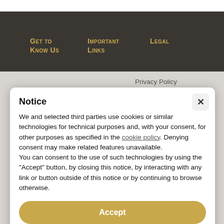Get to Know Us | Important Links | Legal
Privacy Policy
Cookie Policy
About the Founder
1:1 Coaching
Our Approach
2022 Business Deck
Collaborate
Book
Notice
We and selected third parties use cookies or similar technologies for technical purposes and, with your consent, for other purposes as specified in the cookie policy. Denying consent may make related features unavailable.
You can consent to the use of such technologies by using the "Accept" button, by closing this notice, by interacting with any link or button outside of this notice or by continuing to browse otherwise.
Accept
Learn more and customize